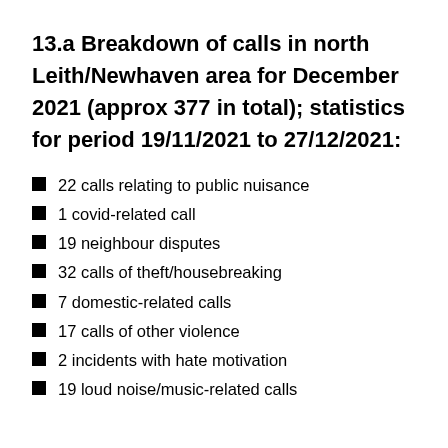13.a Breakdown of calls in north Leith/Newhaven area for December 2021 (approx 377 in total); statistics for period 19/11/2021 to 27/12/2021:
22 calls relating to public nuisance
1 covid-related call
19 neighbour disputes
32 calls of theft/housebreaking
7 domestic-related calls
17 calls of other violence
2 incidents with hate motivation
19 loud noise/music-related calls